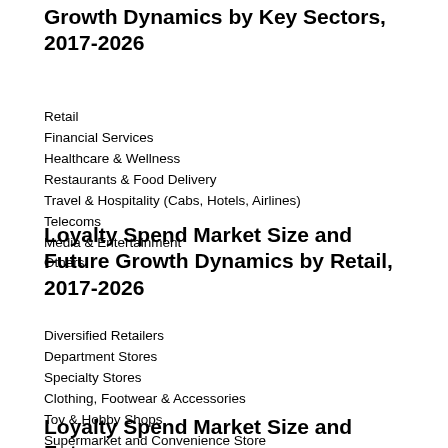Growth Dynamics by Key Sectors, 2017-2026
Retail
Financial Services
Healthcare & Wellness
Restaurants & Food Delivery
Travel & Hospitality (Cabs, Hotels, Airlines)
Telecoms
Media & Entertainment
Others
Loyalty Spend Market Size and Future Growth Dynamics by Retail, 2017-2026
Diversified Retailers
Department Stores
Specialty Stores
Clothing, Footwear & Accessories
Toy & Hobby Shops
Supermarket and Convenience Store
Home Merchandise
Other
Loyalty Spend Market Size and Future